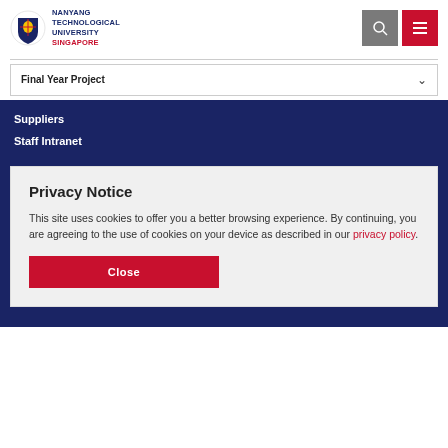[Figure (logo): Nanyang Technological University Singapore logo with crest and text]
Final Year Project
Suppliers
Staff Intranet
Privacy Notice
This site uses cookies to offer you a better browsing experience. By continuing, you are agreeing to the use of cookies on your device as described in our privacy policy.
Close